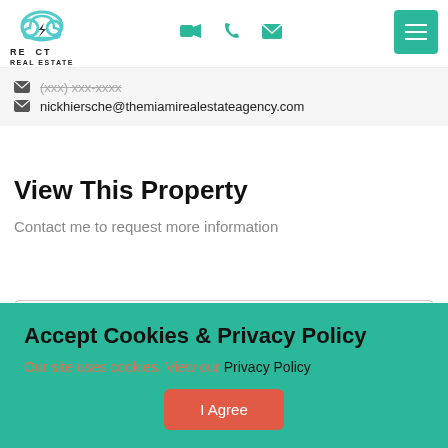React Real Estate – navigation header with logo, video, phone, email icons, and hamburger menu
(redacted phone number)
nickhiersche@themiamirealestateagency.com
View This Property
Contact me to request more information
First Name
Accept Cookies & Privacy Policy
Our site uses cookies. View our Privacy Policy
I Agree